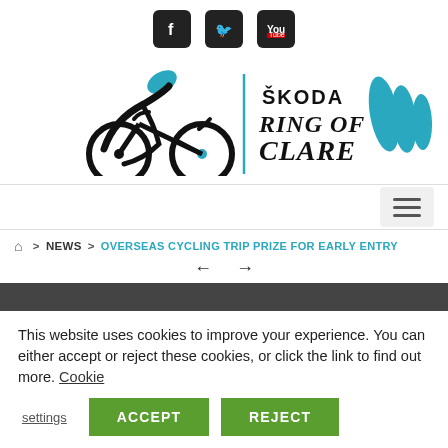[Figure (logo): Social media icons: Facebook, Twitter, YouTube in black rounded square buttons]
[Figure (logo): Škoda Ring of Clare cycling event logo with cyclist illustration and blue wave/flag graphic]
[Figure (other): Hamburger menu icon button on light gray background]
🏠 > NEWS > OVERSEAS CYCLING TRIP PRIZE FOR EARLY ENTRY
← →
This website uses cookies to improve your experience. You can either accept or reject these cookies, or click the link to find out more. Cookie settings
ACCEPT
REJECT